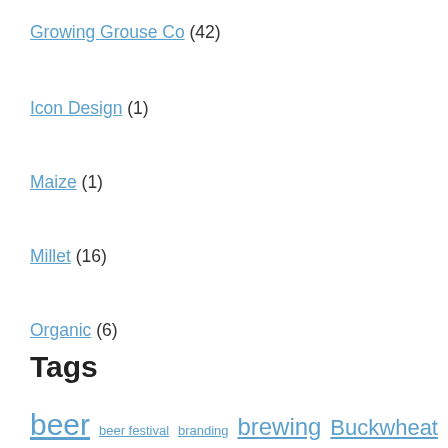Growing Grouse Co (42)
Icon Design (1)
Maize (1)
Millet (16)
Organic (6)
Products (35)
Recipes (11)
Uncategorized (4)
Tags
beer  beer festival  branding  brewing  Buckwheat